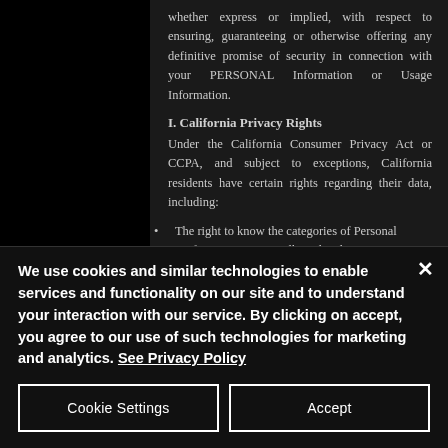whether express or implied, with respect to ensuring, guaranteeing or otherwise offering any definitive promise of security in connection with your PERSONAL Information or Usage Information.
I. California Privacy Rights
Under the California Consumer Privacy Act or CCPA, and subject to exceptions, California residents have certain rights regarding their data, including:
The right to know the categories of Personal Information we've collected and
We use cookies and similar technologies to enable services and functionality on our site and to understand your interaction with our service. By clicking on accept, you agree to our use of such technologies for marketing and analytics. See Privacy Policy